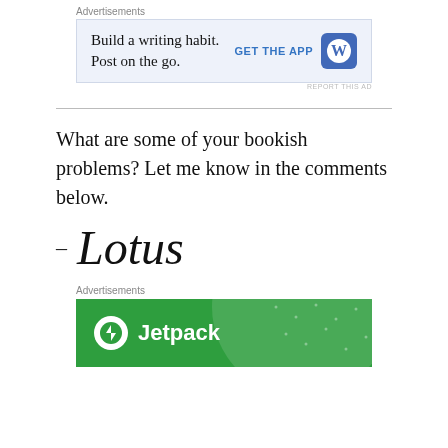[Figure (screenshot): WordPress advertisement: 'Build a writing habit. Post on the go.' with GET THE APP button and WordPress logo on light blue background]
What are some of your bookish problems? Let me know in the comments below.
[Figure (illustration): Handwritten cursive signature reading '- Lotus']
[Figure (screenshot): Jetpack advertisement with green background, Jetpack logo (lightning bolt icon) and Jetpack text]